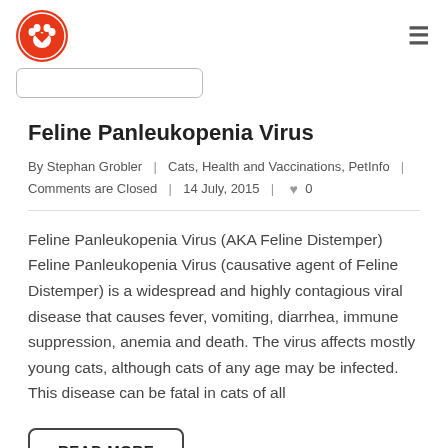Feline Panleukopenia Virus
By Stephan Grobler | Cats, Health and Vaccinations, PetInfo | Comments are Closed | 14 July, 2015 | ♥ 0
Feline Panleukopenia Virus (AKA Feline Distemper) Feline Panleukopenia Virus (causative agent of Feline Distemper) is a widespread and highly contagious viral disease that causes fever, vomiting, diarrhea, immune suppression, anemia and death. The virus affects mostly young cats, although cats of any age may be infected. This disease can be fatal in cats of all
READ MORE